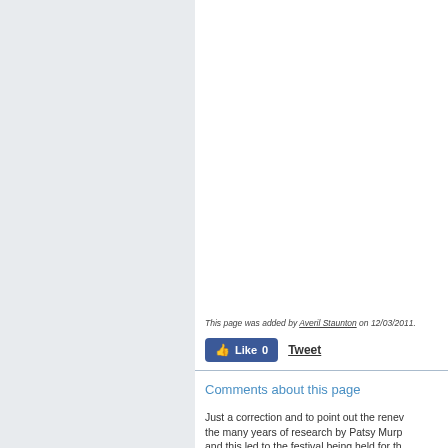This page was added by Averil Staunton on 12/03/2011.
[Figure (other): Facebook Like button showing 0 likes and a Tweet button]
Comments about this page
Just a correction and to point out the renew... the many years of research by Patsy Murp... and this led to the festival being held for th...